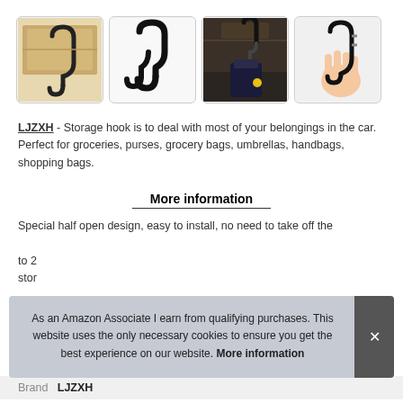[Figure (photo): Four thumbnail images of a car seat headrest hook/storage hook product: (1) hook attached to car headrest, beige interior; (2) black hook product alone on white background; (3) hook in use in dark car interior with bag hanging; (4) hand holding the hook showing its shape.]
LJZXH - Storage hook is to deal with most of your belongings in the car. Perfect for groceries, purses, grocery bags, umbrellas, handbags, shopping bags.
More information
Special half open design, easy to install, no need to take off the [obscured] to 2 [obscured] stor[obscured]
As an Amazon Associate I earn from qualifying purchases. This website uses the only necessary cookies to ensure you get the best experience on our website. More information
Brand  LJZXH